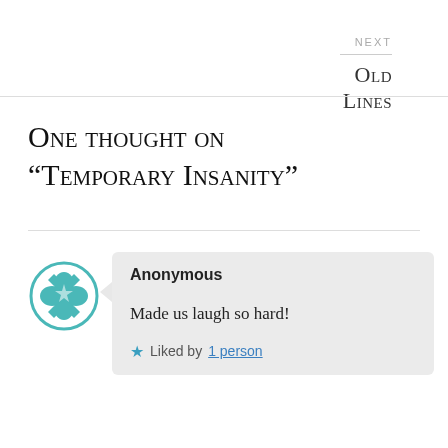NEXT
Old Lines
One thought on “Temporary Insanity”
Anonymous
Made us laugh so hard!
★ Liked by 1 person